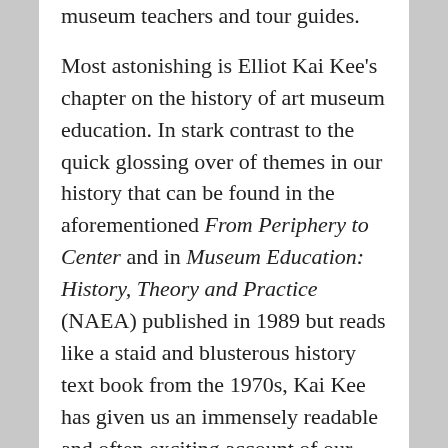museum teachers and tour guides. Most astonishing is Elliot Kai Kee's chapter on the history of art museum education. In stark contrast to the quick glossing over of themes in our history that can be found in the aforementioned From Periphery to Center and in Museum Education: History, Theory and Practice (NAEA) published in 1989 but reads like a staid and blusterous history text book from the 1970s, Kai Kee has given us an immensely readable and often exciting account of our past. To help make it personal, he's populated the chapter with quotes from both documents and